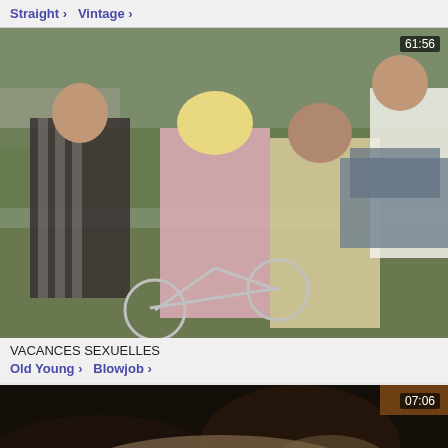Straight > Vintage >
[Figure (photo): Video thumbnail showing outdoor vintage scene with people and a bicycle near a car. Duration badge: 61:56]
VACANCES SEXUELLES
Old Young > Blowjob >
[Figure (photo): Video thumbnail showing a dark close-up scene. Duration badge: 07:06]